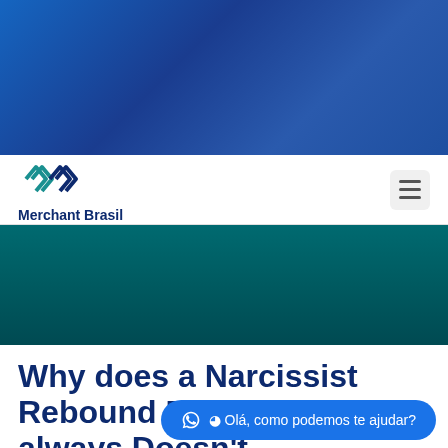[Figure (photo): Blue background hero image with architectural/industrial elements, dark navy blue gradient]
[Figure (logo): Merchant Brasil logo with teal geometric double-arrow icon and dark navy text]
Why does a Narcissist Rebound Relationship always Doesn't ...
Olá, como podemos te ajudar?